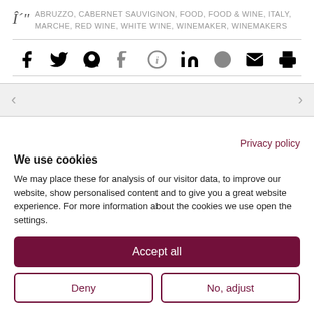ABRUZZO, CABERNET SAUVIGNON, FOOD, FOOD & WINE, ITALY, MARCHE, RED WINE, WHITE WINE, WINEMAKER, WINEMAKERS
[Figure (other): Social sharing icons: Facebook, Twitter, Google+, Tumblr, Pinterest (circle-i), LinkedIn, StumbleUpon, Email, Print]
[Figure (other): Navigation left and right arrow buttons on gray background]
Privacy policy
We use cookies
We may place these for analysis of our visitor data, to improve our website, show personalised content and to give you a great website experience. For more information about the cookies we use open the settings.
Accept all
Deny
No, adjust